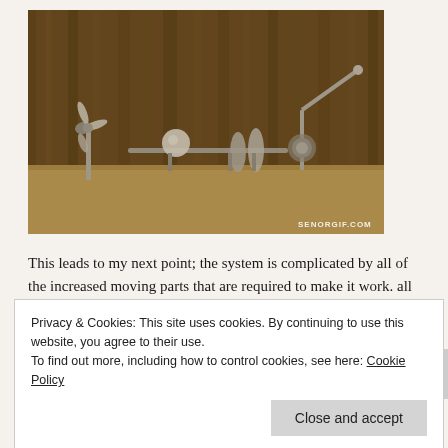[Figure (photo): Sepia-toned photograph of mechanical parts and small models on a wooden table against a wooden wall background. Various small propeller, spherical, and disc-shaped components are visible. Watermark reads SENORGIF.COM.]
This leads to my next point; the system is complicated by all of the increased moving parts that are required to make it work. all of these little joints in a massive industrial warehouse are perfect
Privacy & Cookies: This site uses cookies. By continuing to use this website, you agree to their use.
To find out more, including how to control cookies, see here: Cookie Policy
Close and accept